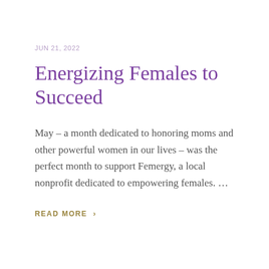JUN 21, 2022
Energizing Females to Succeed
May – a month dedicated to honoring moms and other powerful women in our lives – was the perfect month to support Femergy, a local nonprofit dedicated to empowering females. …
READ MORE  ›